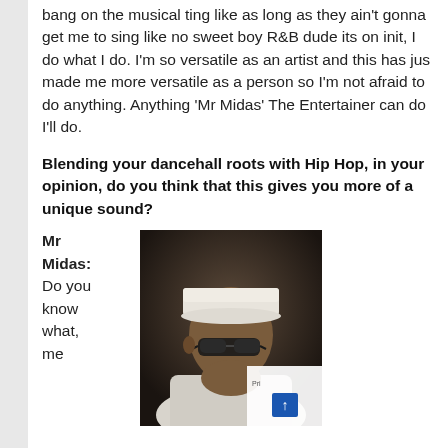bang on the musical ting like as long as they ain't gonna get me to sing like no sweet boy R&B dude its on init, I do what I do. I'm so versatile as an artist and this has jus made me more versatile as a person so I'm not afraid to do anything. Anything 'Mr Midas' The Entertainer can do I'll do.
Blending your dancehall roots with Hip Hop, in your opinion, do you think that this gives you more of a unique sound?
Mr Midas: Do you know what, me
[Figure (photo): Photo of Mr Midas wearing a white cap and sunglasses, looking down, wearing a white jacket, dark background]